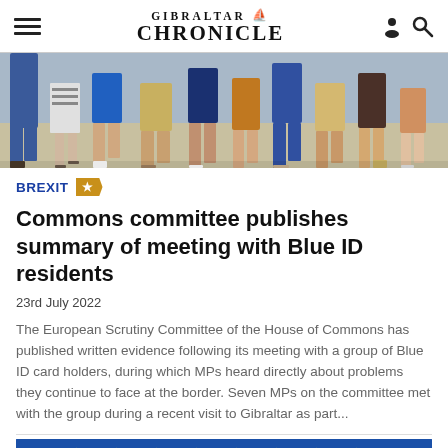GIBRALTAR CHRONICLE
[Figure (photo): Cropped photo showing legs and feet of several people walking on a sunny street or promenade, taken from waist down.]
BREXIT
Commons committee publishes summary of meeting with Blue ID residents
23rd July 2022
The European Scrutiny Committee of the House of Commons has published written evidence following its meeting with a group of Blue ID card holders, during which MPs heard directly about problems they continue to face at the border. Seven MPs on the committee met with the group during a recent visit to Gibraltar as part...
[Figure (photo): Partial image at the bottom showing EU flag stars on blue background, partially cropped.]